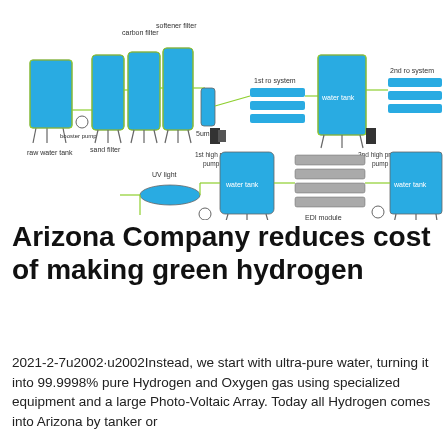[Figure (schematic): Water purification system schematic showing raw water tank, sand filter, carbon filter, softener filter, booster pump, 5um filter, 1st high pressure pump, 1st RO system, water tank, 2nd high pressure pump, 2nd RO system, water tank, UV light, convey pump, output, EDI module, booster pump, and water tank — all connected by pipes with directional flow.]
Arizona Company reduces cost of making green hydrogen
2021-2-7u2002·u2002Instead, we start with ultra-pure water, turning it into 99.9998% pure Hydrogen and Oxygen gas using specialized equipment and a large Photo-Voltaic Array. Today all Hydrogen comes into Arizona by tanker or